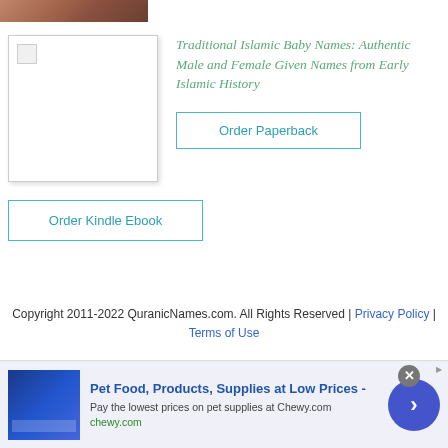[Figure (photo): Partial view of a reddish-brown rocky landscape or canyon at the top of the page]
[Figure (photo): Book cover image placeholder with broken image icon for Traditional Islamic Baby Names book]
Traditional Islamic Baby Names: Authentic Male and Female Given Names from Early Islamic History
Order Paperback
Order Kindle Ebook
Copyright 2011-2022 QuranicNames.com. All Rights Reserved | Privacy Policy | Terms of Use
[Figure (infographic): Advertisement banner: Pet Food, Products, Supplies at Low Prices - Pay the lowest prices on pet supplies at Chewy.com | chewy.com]